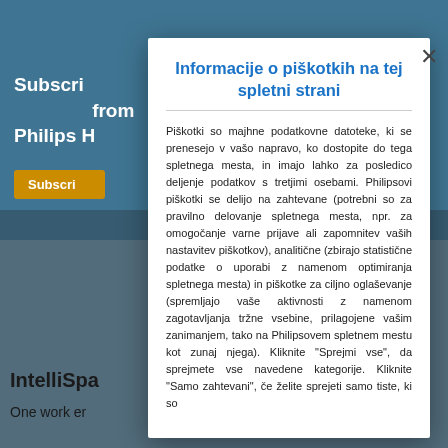[Figure (screenshot): Background of a Philips website with blue header and subscription text partially visible]
Informacije o piškotkih na tej spletni strani
Piškotki so majhne podatkovne datoteke, ki se prenesejo v vašo napravo, ko dostopite do tega spletnega mesta, in imajo lahko za posledico deljenje podatkov s tretjimi osebami. Philipsovi piškotki se delijo na zahtevane (potrebni so za pravilno delovanje spletnega mesta, npr. za omogočanje varne prijave ali zapomnitev vaših nastavitev piškotkov), analitične (zbirajo statistične podatke o uporabi z namenom optimiranja spletnega mesta) in piškotke za ciljno oglaševanje (spremljajo vaše aktivnosti z namenom zagotavljanja tržne vsebine, prilagojene vašim zanimanjem, tako na Philipsovem spletnem mestu kot zunaj njega). Kliknite "Sprejmi vse", da sprejmete vse navedene kategorije. Kliknite "Samo zahtevani", če želite sprejeti samo tiste, ki so